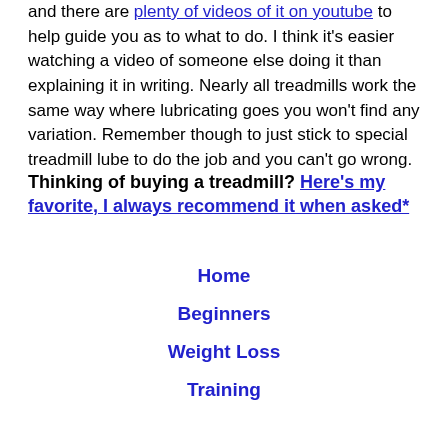and there are plenty of videos of it on youtube to help guide you as to what to do. I think it's easier watching a video of someone else doing it than explaining it in writing. Nearly all treadmills work the same way where lubricating goes you won't find any variation. Remember though to just stick to special treadmill lube to do the job and you can't go wrong.
Thinking of buying a treadmill? Here's my favorite, I always recommend it when asked*
Home
Beginners
Weight Loss
Training